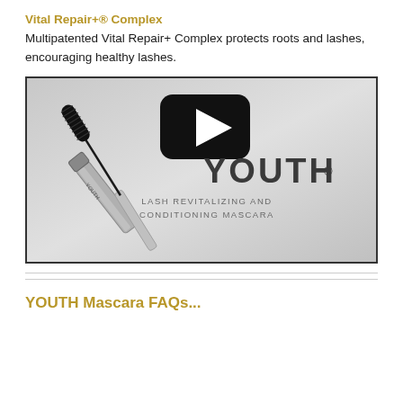Vital Repair+® Complex
Multipatented Vital Repair+ Complex protects roots and lashes, encouraging healthy lashes.
[Figure (photo): Video thumbnail showing YOUTH Lash Revitalizing and Conditioning Mascara product with a play button overlay. The mascara wand and tube are displayed on a light gray background with the YOUTH® brand name and text 'LASH REVITALIZING AND CONDITIONING MASCARA' visible.]
YOUTH Mascara FAQs...